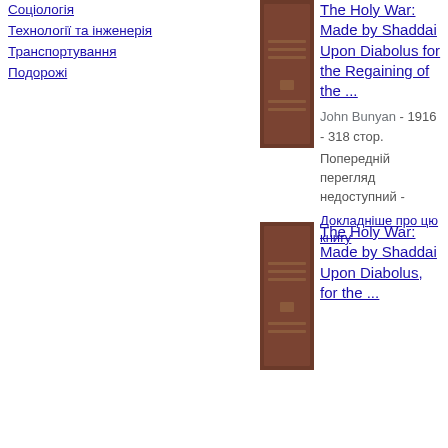Соціологія
Технології та інженерія
Транспортування
Подорожі
[Figure (photo): Book cover for The Holy War - brown cover with horizontal lines]
The Holy War: Made by Shaddai Upon Diabolus for the Regaining of the ...
John Bunyan - 1916 - 318 стор.
Попередній перегляд недоступний -
Докладніше про цю книгу
[Figure (photo): Book cover for The Holy War - brown cover with horizontal lines]
The Holy War: Made by Shaddai Upon Diabolus, for the ...